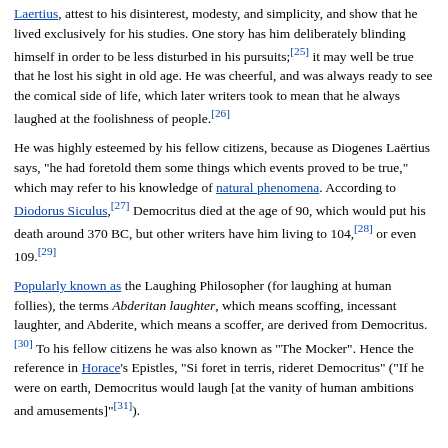Laertius, attest to his disinterest, modesty, and simplicity, and show that he lived exclusively for his studies. One story has him deliberately blinding himself in order to be less disturbed in his pursuits;[25] it may well be true that he lost his sight in old age. He was cheerful, and was always ready to see the comical side of life, which later writers took to mean that he always laughed at the foolishness of people.[26]
He was highly esteemed by his fellow citizens, because as Diogenes Laërtius says, "he had foretold them some things which events proved to be true," which may refer to his knowledge of natural phenomena. According to Diodorus Siculus,[27] Democritus died at the age of 90, which would put his death around 370 BC, but other writers have him living to 104,[28] or even 109.[29]
Popularly known as the Laughing Philosopher (for laughing at human follies), the terms Abderitan laughter, which means scoffing, incessant laughter, and Abderite, which means a scoffer, are derived from Democritus.[30] To his fellow citizens he was also known as "The Mocker". Hence the reference in Horace's Epistles, "Si foret in terris, rideret Democritus" ("If he were on earth, Democritus would laugh [at the vanity of human ambitions and amusements]"[31]).